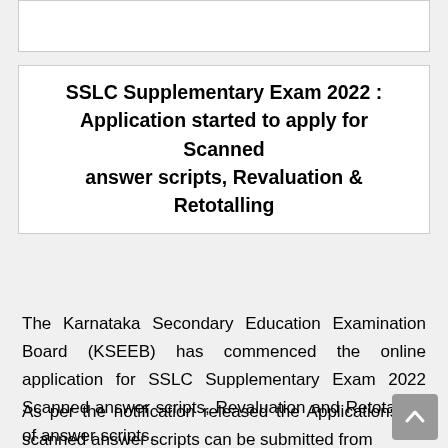SSLC Supplementary Exam 2022 : Application started to apply for Scanned answer scripts, Revaluation & Retotalling
The Karnataka Secondary Education Examination Board (KSEEB) has commenced the online application for SSLC Supplementary Exam 2022 Scanned answer scripts, Revaluation and Retotalling of answer scripts,
As per the notification released the Applications for scanned answer scripts can be submitted from